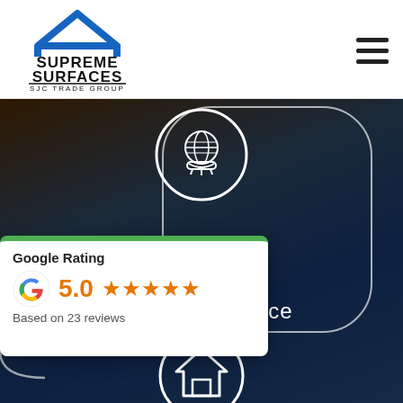[Figure (logo): Supreme Surfaces SJC Trade Group logo with blue house/chevron icon above text]
[Figure (infographic): Dark background kitchen scene with white bordered rounded rectangle card, globe-in-hand icon circle at top center, Years Experience text, and home icon circle at bottom center]
[Figure (infographic): Google Rating card overlay: 5.0 stars based on 23 reviews with Google G logo and green top border]